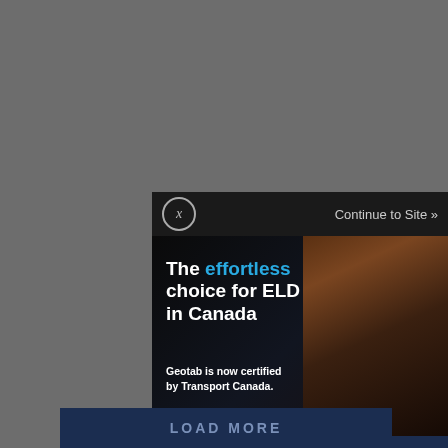[Figure (screenshot): Geotab advertisement with close button (X) and 'Continue to Site »' link at top, dark background with man in plaid shirt smiling, headline 'The effortless choice for ELD in Canada', subtext 'Geotab is now certified by Transport Canada.', bottom bar with 'ELD made effortless' and GEOTAB. logo]
LOAD MORE